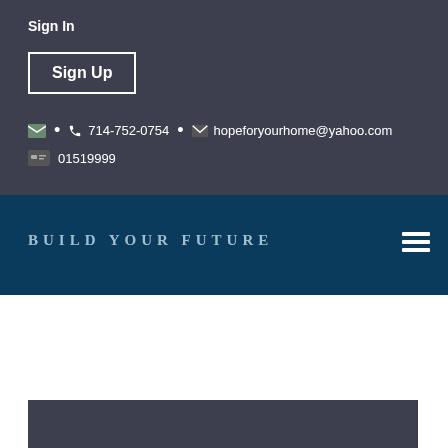Sign In
Sign Up
714-752-0754  •  hopeforyourhome@yahoo.com
01519999
BUILD YOUR FUTURE
[Figure (other): Dark card/banner section at bottom]